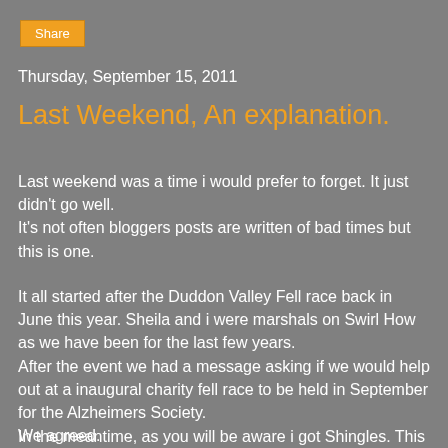Share
Thursday, September 15, 2011
Last Weekend, An explanation.
Last weekend was a time i would prefer to forget. It just didn't go well.
It's not often bloggers posts are written of bad times but this is one.
It all started after the Duddon Valley Fell race back in June this year. Sheila and i were marshals on Swirl How as we have been for the last few years.
After the event we had a message asking if we would help out at a inaugural charity fell race to be held in September for the Alzheimers Society.
We agreed.
In the meantime, as you will be aware i got Shingles. This was mid